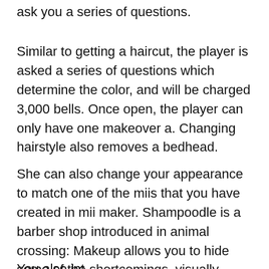ask you a series of questions.
Similar to getting a haircut, the player is asked a series of questions which determine the color, and will be charged 3,000 bells. Once open, the player can only have one makeover a. Changing hairstyle also removes a bedhead.
She can also change your appearance to match one of the miis that you have created in mii maker. Shampoodle is a barber shop introduced in animal crossing: Makeup allows you to hide some of the shortcomings, visually adjust the shape or emphasize the winning facial features.
You also inteded...